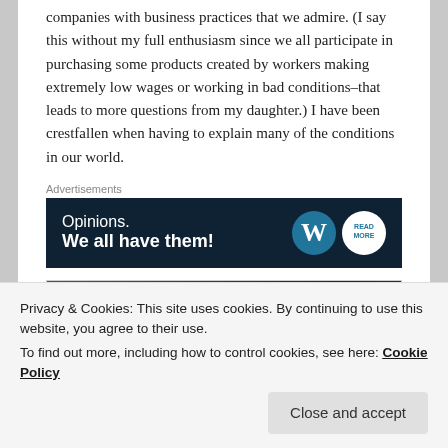companies with business practices that we admire. (I say this without my full enthusiasm since we all participate in purchasing some products created by workers making extremely low wages or working in bad conditions–that leads to more questions from my daughter.) I have been crestfallen when having to explain many of the conditions in our world.
Advertisements
[Figure (other): WordPress advertisement banner with dark navy background. Text reads: 'Opinions. We all have them!' with WordPress logo (W) and a circular 'Read More' button on the right.]
[Figure (photo): Partial photo showing dark brown wooden or leather surface, cropped at bottom of view.]
Privacy & Cookies: This site uses cookies. By continuing to use this website, you agree to their use.
To find out more, including how to control cookies, see here: Cookie Policy
Close and accept